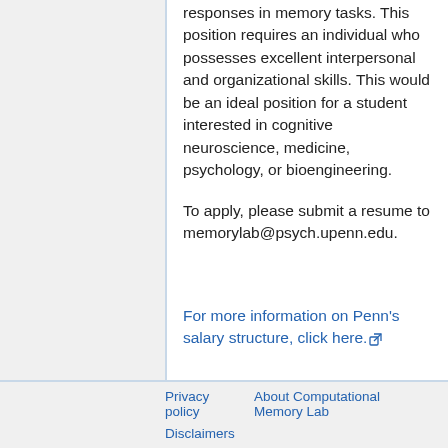responses in memory tasks. This position requires an individual who possesses excellent interpersonal and organizational skills. This would be an ideal position for a student interested in cognitive neuroscience, medicine, psychology, or bioengineering.
To apply, please submit a resume to memorylab@psych.upenn.edu.
For more information on Penn's salary structure, click here.
Privacy policy   About Computational Memory Lab   Disclaimers